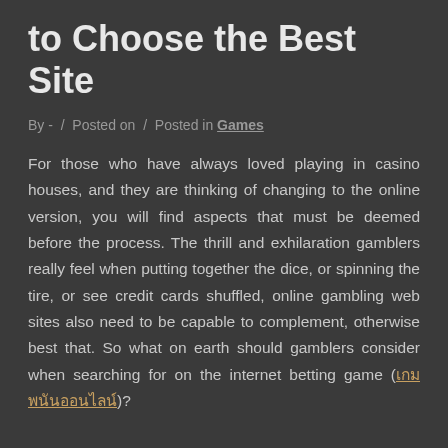to Choose the Best Site
By - / Posted on / Posted in Games
For those who have always loved playing in casino houses, and they are thinking of changing to the online version, you will find aspects that must be deemed before the process. The thrill and exhilaration gamblers really feel when putting together the dice, or spinning the tire, or see credit cards shuffled, online gambling web sites also need to be capable to complement, otherwise best that. So what on earth should gamblers consider when searching for on the internet betting game (เกมพนันออนไลน์)?